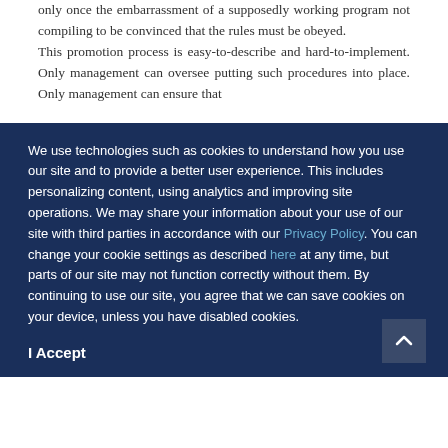only once the embarrassment of a supposedly working program not compiling to be convinced that the rules must be obeyed.
This promotion process is easy-to-describe and hard-to-implement. Only management can oversee putting such procedures into place. Only management can ensure that
We use technologies such as cookies to understand how you use our site and to provide a better user experience. This includes personalizing content, using analytics and improving site operations. We may share your information about your use of our site with third parties in accordance with our Privacy Policy. You can change your cookie settings as described here at any time, but parts of our site may not function correctly without them. By continuing to use our site, you agree that we can save cookies on your device, unless you have disabled cookies.
I Accept